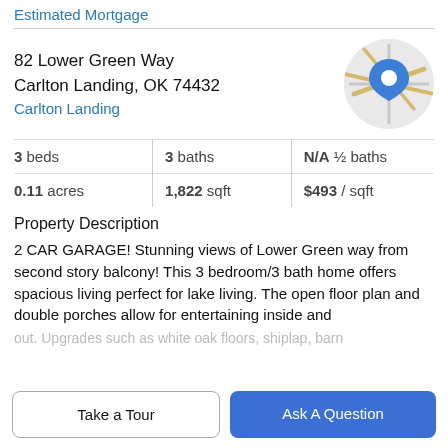Estimated Mortgage
82 Lower Green Way
Carlton Landing, OK 74432
Carlton Landing
[Figure (map): Circular map thumbnail showing Carlton Landing, OK with a blue location pin marker and road network.]
| 3 beds | 3 baths | N/A ½ baths |
| 0.11 acres | 1,822 sqft | $493 / sqft |
Property Description
2 CAR GARAGE! Stunning views of Lower Green way from second story balcony! This 3 bedroom/3 bath home offers spacious living perfect for lake living. The open floor plan and double porches allow for entertaining inside and out. Upgrades such as white oak floors, shiplap, barn
Take a Tour
Ask A Question